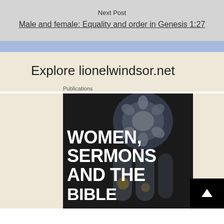Next Post
Male and female: Equality and order in Genesis 1:27
Explore lionelwindsor.net
Publications
[Figure (photo): Book cover image showing a stained glass window with text 'WOMEN, SERMONS AND THE BIBLE' overlaid in large white bold letters on a dark background]